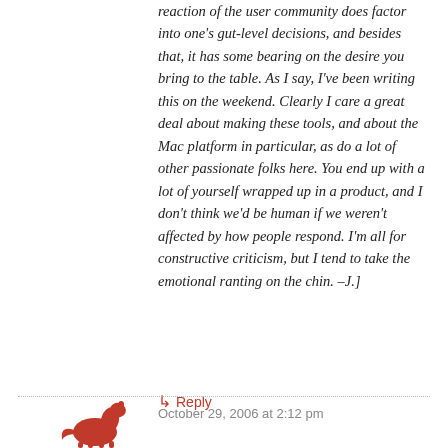reaction of the user community does factor into one's gut-level decisions, and besides that, it has some bearing on the desire you bring to the table. As I say, I've been writing this on the weekend. Clearly I care a great deal about making these tools, and about the Mac platform in particular, as do a lot of other passionate folks here. You end up with a lot of yourself wrapped up in a product, and I don't think we'd be human if we weren't affected by how people respond. I'm all for constructive criticism, but I tend to take the emotional ranting on the chin. –J.]
↳ Reply
October 29, 2006 at 2:12 pm